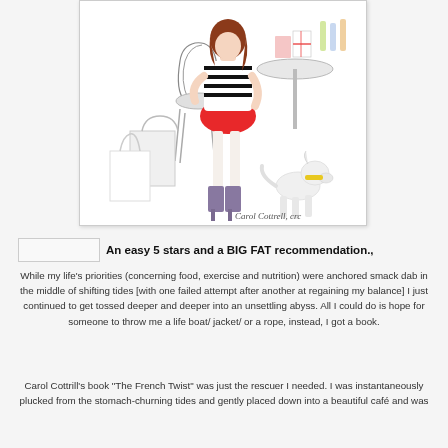[Figure (illustration): Fashion illustration by Carol Cottrell showing a stylish woman in a striped top and red skirt sitting at a café table with shopping bags and a white dog, signed 'Carol Cottrell, crc']
An easy 5 stars and a BIG FAT recommendation.,
While my life's priorities (concerning food, exercise and nutrition) were anchored smack dab in the middle of shifting tides [with one failed attempt after another at regaining my balance] I just continued to get tossed deeper and deeper into an unsettling abyss. All I could do is hope for someone to throw me a life boat/ jacket/ or a rope, instead, I got a book.
Carol Cottrill's book "The French Twist" was just the rescuer I needed. I was instantaneously plucked from the stomach-churning tides and gently placed down into a beautiful café and was